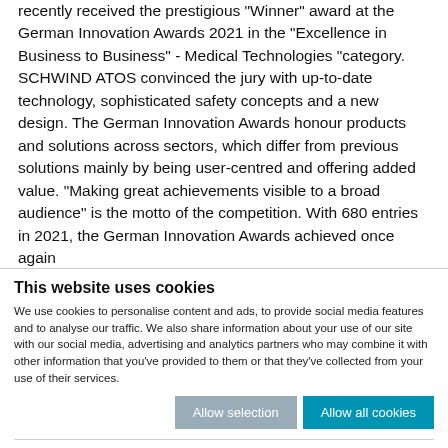recently received the prestigious "Winner" award at the German Innovation Awards 2021 in the "Excellence in Business to Business" - Medical Technologies "category. SCHWIND ATOS convinced the jury with up-to-date technology, sophisticated safety concepts and a new design. The German Innovation Awards honour products and solutions across sectors, which differ from previous solutions mainly by being user-centred and offering added value. "Making great achievements visible to a broad audience" is the motto of the competition. With 680 entries in 2021, the German Innovation Awards achieved once again
This website uses cookies
We use cookies to personalise content and ads, to provide social media features and to analyse our traffic. We also share information about your use of our site with our social media, advertising and analytics partners who may combine it with other information that you've provided to them or that they've collected from your use of their services.
Allow selection   Allow all cookies
Necessary   Preferences   Statistics   Marketing   Show details